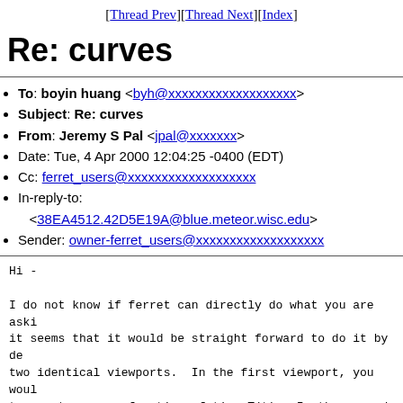[Thread Prev][Thread Next][Index]
Re: curves
To: boyin huang <byh@xxxxxxxxxxxxxxxxxxx>
Subject: Re: curves
From: Jeremy S Pal <jpal@xxxxxxx>
Date: Tue, 4 Apr 2000 12:04:25 -0400 (EDT)
Cc: ferret_users@xxxxxxxxxxxxxxxxxxx
In-reply-to: <38EA4512.42D5E19A@blue.meteor.wisc.edu>
Sender: owner-ferret_users@xxxxxxxxxxxxxxxxxxx
Hi -

I do not know if ferret can directly do what you are aski
it seems that it would be straight forward to do it by de
two identical viewports.  In the first viewport, you woul
temperature as a function of time T(t).  In the second, y
plot salinity as a function of time S(t) with the y-axis
on the right side.  If you use gridlines, you'll need to
sure that they match up by using the ylimits command.  He